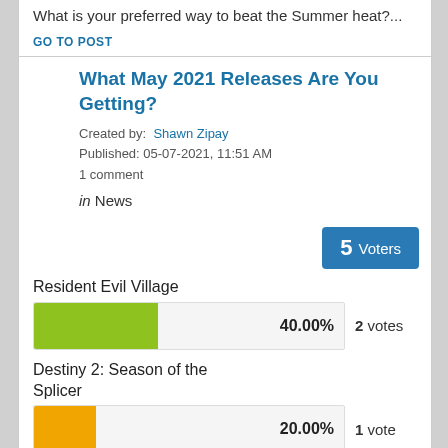What is your preferred way to beat the Summer heat?...
GO TO POST
What May 2021 Releases Are You Getting?
Created by: Shawn Zipay
Published: 05-07-2021, 11:51 AM
1 comment
in News
5 Voters
Resident Evil Village
[Figure (bar-chart): Poll bar - Resident Evil Village]
40.00%  2 votes
Destiny 2: Season of the Splicer
[Figure (bar-chart): Poll bar - Destiny 2]
20.00%  1 vote
Mass Effect Legendary Edition
[Figure (bar-chart): Poll bar - Mass Effect]
60.00%  3 votes
Days Gone (PC)